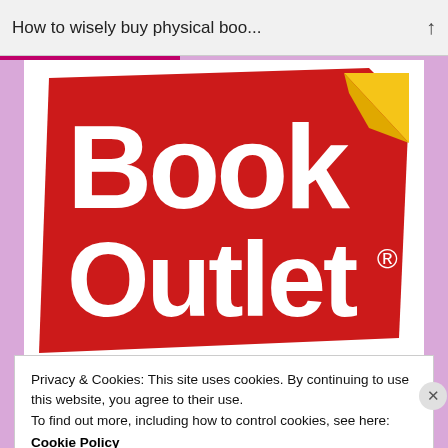How to wisely buy physical boo...
[Figure (logo): Book Outlet logo — large red price-tag shape with white text 'Book Outlet' and a yellow folded corner]
Privacy & Cookies: This site uses cookies. By continuing to use this website, you agree to their use.
To find out more, including how to control cookies, see here:
Cookie Policy
Close and accept